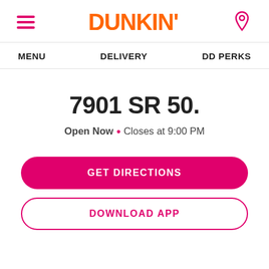DUNKIN'
MENU   DELIVERY   DD PERKS
7901 SR 50.
Open Now • Closes at 9:00 PM
GET DIRECTIONS
DOWNLOAD APP